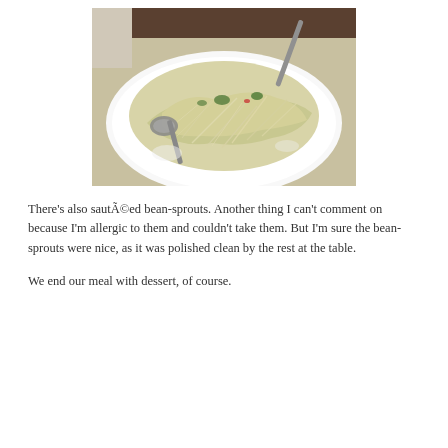[Figure (photo): A white plate with a large serving of sautéed bean-sprouts, garnished with green vegetables and red accents, with a spoon and fork resting on the plate.]
There's also sautéed bean-sprouts. Another thing I can't comment on because I'm allergic to them and couldn't take them. But I'm sure the bean-sprouts were nice, as it was polished clean by the rest at the table.
We end our meal with dessert, of course.